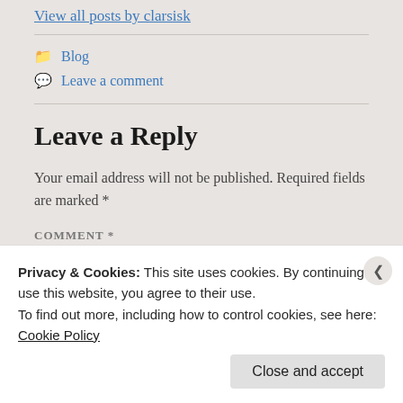View all posts by clarsisk
Blog
Leave a comment
Leave a Reply
Your email address will not be published. Required fields are marked *
COMMENT *
Privacy & Cookies: This site uses cookies. By continuing to use this website, you agree to their use.
To find out more, including how to control cookies, see here:
Cookie Policy
Close and accept